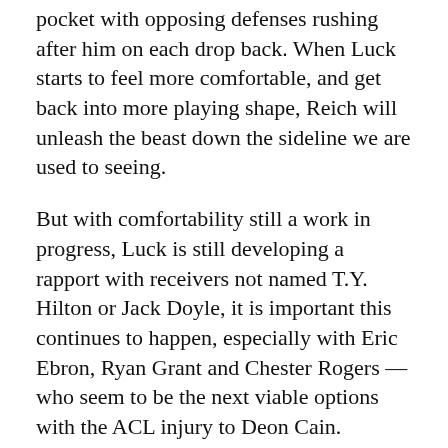pocket with opposing defenses rushing after him on each drop back. When Luck starts to feel more comfortable, and get back into more playing shape, Reich will unleash the beast down the sideline we are used to seeing.
But with comfortability still a work in progress, Luck is still developing a rapport with receivers not named T.Y. Hilton or Jack Doyle, it is important this continues to happen, especially with Eric Ebron, Ryan Grant and Chester Rogers — who seem to be the next viable options with the ACL injury to Deon Cain.
Coin flip, or flips, for Right Tackle
The protection of Andrew Luck was the No. 1 goal in the offseason for Chris Ballard, drafting Quenton